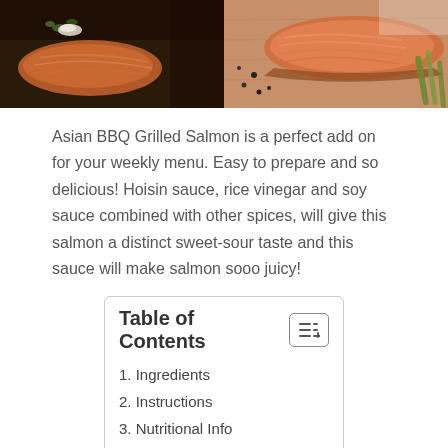[Figure (photo): Two food photos side by side: left shows a grilled salmon fillet on dark slate with herb garnish; right shows a salmon fillet with peppercorns and asparagus on a wooden board.]
Asian BBQ Grilled Salmon is a perfect add on for your weekly menu. Easy to prepare and so delicious! Hoisin sauce, rice vinegar and soy sauce combined with other spices, will give this salmon a distinct sweet-sour taste and this sauce will make salmon sooo juicy!
| Table of Contents |
| --- |
| 1. Ingredients |
| 2. Instructions |
| 3. Nutritional Info |
Ingredients